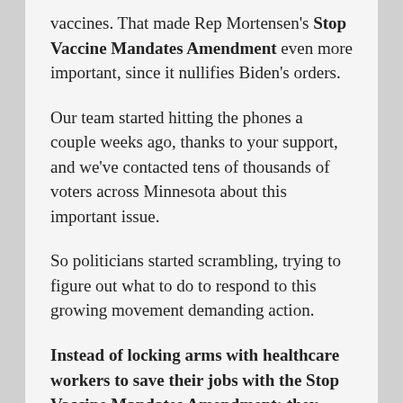vaccines. That made Rep Mortensen's Stop Vaccine Mandates Amendment even more important, since it nullifies Biden's orders.
Our team started hitting the phones a couple weeks ago, thanks to your support, and we've contacted tens of thousands of voters across Minnesota about this important issue.
So politicians started scrambling, trying to figure out what to do to respond to this growing movement demanding action.
Instead of locking arms with healthcare workers to save their jobs with the Stop Vaccine Mandates Amendment; they instead decided to run a cover bill that doesn't even do what it claims.